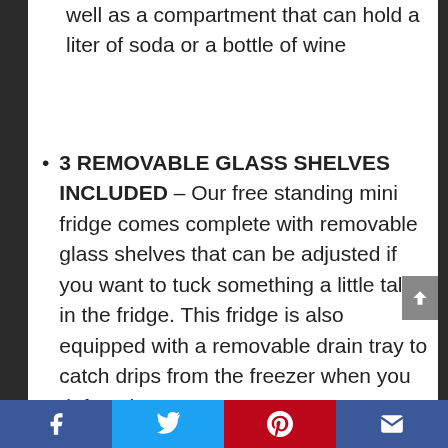well as a compartment that can hold a liter of soda or a bottle of wine
3 REMOVABLE GLASS SHELVES INCLUDED – Our free standing mini fridge comes complete with removable glass shelves that can be adjusted if you want to tuck something a little taller in the fridge. This fridge is also equipped with a removable drain tray to catch drips from the freezer when you defrost it
Facebook | Twitter | Pinterest | Email